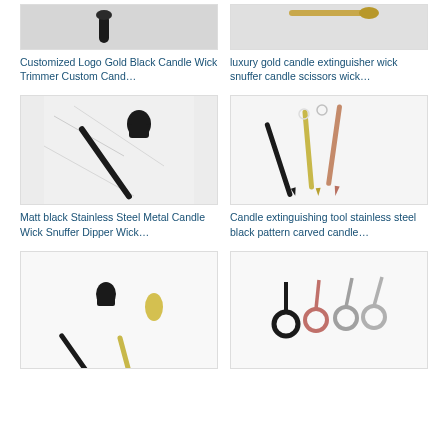[Figure (photo): Partial top view of a black candle wick trimmer on white background]
Customized Logo Gold Black Candle Wick Trimmer Custom Cand…
[Figure (photo): Partial top view of gold candle extinguisher wick snuffer on white background]
luxury gold candle extinguisher wick snuffer candle scissors wick…
[Figure (photo): Matt black stainless steel candle wick snuffer dipper on marble surface]
Matt black Stainless Steel Metal Candle Wick Snuffer Dipper Wick…
[Figure (photo): Three candle extinguishing tools in black, gold/yellow and rose gold colors on white background]
Candle extinguishing tool stainless steel black pattern carved candle…
[Figure (photo): Black and gold candle wick snuffer and dipper set on white background (partially cut off)]
[Figure (photo): Four candle wick trimmers/scissors in black, rose gold, silver colors on white background (partially cut off)]